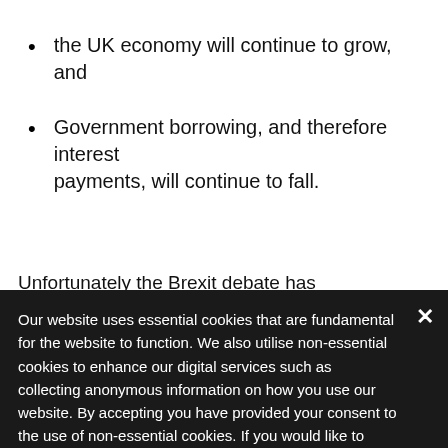the UK economy will continue to grow, and
Government borrowing, and therefore interest payments, will continue to fall.
Unfortunately the Brexit debate has compromised the
Our website uses essential cookies that are fundamental for the website to function. We also utilise non-essential cookies to enhance our digital services such as collecting anonymous information on how you use our website. By accepting you have provided your consent to the use of non-essential cookies. If you would like to change this, please click on 'Change cookie settings'.
Accept & Close
Change cookie settings
emergency budget delivered governmentally, when a